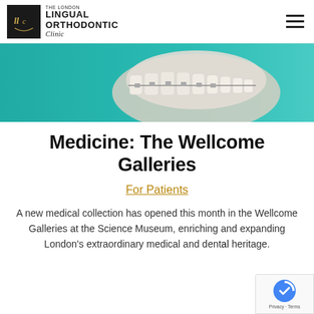THE LONDON LINGUAL ORTHODONTIC Clinic
[Figure (photo): Hero image showing a dental/tooth model on teal/turquoise background, partially cropped at top]
Medicine: The Wellcome Galleries
For Patients
A new medical collection has opened this month in the Wellcome Galleries at the Science Museum, enriching and expanding London's extraordinary medical and dental heritage.